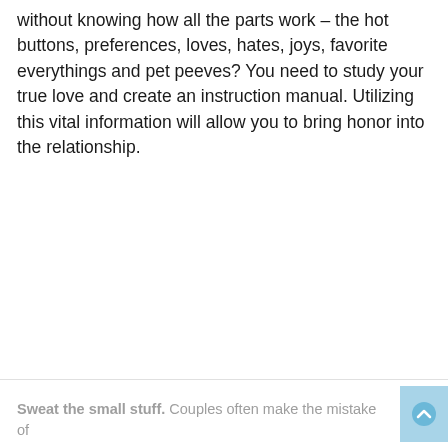without knowing how all the parts work – the hot buttons, preferences, loves, hates, joys, favorite everythings and pet peeves? You need to study your true love and create an instruction manual. Utilizing this vital information will allow you to bring honor into the relationship.
Sweat the small stuff. Couples often make the mistake of